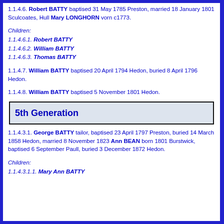1.1.4.6. Robert BATTY baptised 31 May 1785 Preston, married 18 January 1801 Sculcoates, Hull Mary LONGHORN vorn c1773.
Children:
1.1.4.6.1. Robert BATTY
1.1.4.6.2. William BATTY
1.1.4.6.3. Thomas BATTY
1.1.4.7. William BATTY baptised 20 April 1794 Hedon, buried 8 April 1796 Hedon.
1.1.4.8. William BATTY baptised 5 November 1801 Hedon.
5th Generation
1.1.4.3.1. George BATTY tailor, baptised 23 April 1797 Preston, buried 14 March 1858 Hedon, married 8 November 1823 Ann BEAN born 1801 Burstwick, baptised 6 September Paull, buried 3 December 1872 Hedon.
Children:
1.1.4.3.1.1. Mary Ann BATTY